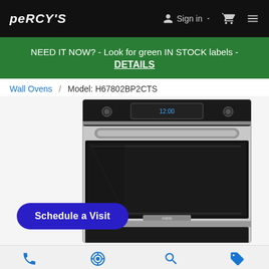PERCYS | Sign in | Cart | Menu
NEED IT NOW? - Look for green IN STOCK labels - DETAILS
Wall Ovens / Model: H67802BP2CTS
[Figure (photo): Wall oven product photo - stainless steel double wall oven with black glass interior, digital control panel at top, model H67802BP2CTS]
Schedule a Visit
Call | Directions | Search | Outlet